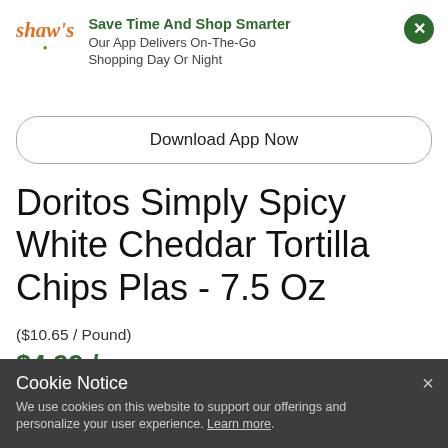[Figure (logo): Shaw's grocery store logo in orange italic text with a small green leaf accent]
Save Time And Shop Smarter
Our App Delivers On-The-Go Shopping Day Or Night
Download App Now
Doritos Simply Spicy White Cheddar Tortilla Chips Plas - 7.5 Oz
($10.65 / Pound)
$4.99 / ea
Cookie Notice
We use cookies on this website to support our offerings and personalize your user experience. Learn more.